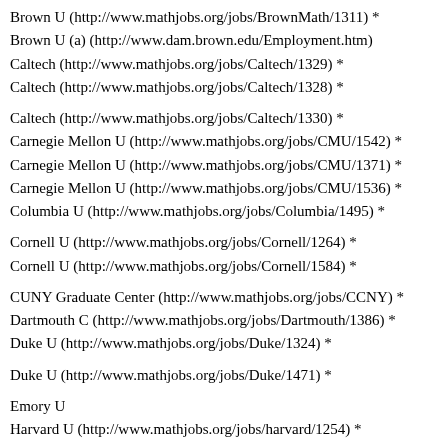Brown U (http://www.mathjobs.org/jobs/BrownMath/1311) *
Brown U (a) (http://www.dam.brown.edu/Employment.htm)
Caltech (http://www.mathjobs.org/jobs/Caltech/1329) *
Caltech (http://www.mathjobs.org/jobs/Caltech/1328) *
Caltech (http://www.mathjobs.org/jobs/Caltech/1330) *
Carnegie Mellon U (http://www.mathjobs.org/jobs/CMU/1542) *
Carnegie Mellon U (http://www.mathjobs.org/jobs/CMU/1371) *
Carnegie Mellon U (http://www.mathjobs.org/jobs/CMU/1536) *
Columbia U (http://www.mathjobs.org/jobs/Columbia/1495) *
Cornell U (http://www.mathjobs.org/jobs/Cornell/1264) *
Cornell U (http://www.mathjobs.org/jobs/Cornell/1584) *
CUNY Graduate Center (http://www.mathjobs.org/jobs/CCNY) *
Dartmouth C (http://www.mathjobs.org/jobs/Dartmouth/1386) *
Duke U (http://www.mathjobs.org/jobs/Duke/1324) *
Duke U (http://www.mathjobs.org/jobs/Duke/1471) *
Emory U
Harvard U (http://www.mathjobs.org/jobs/harvard/1254) *